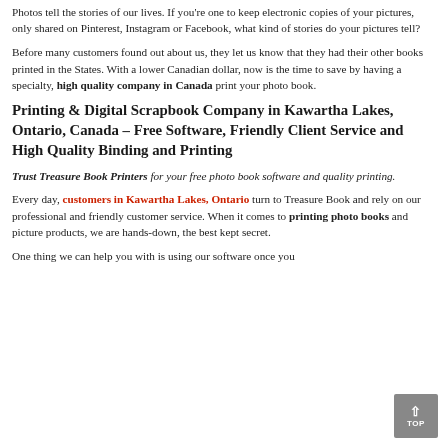Photos tell the stories of our lives. If you're one to keep electronic copies of your pictures, only shared on Pinterest, Instagram or Facebook, what kind of stories do your pictures tell?
Before many customers found out about us, they let us know that they had their other books printed in the States. With a lower Canadian dollar, now is the time to save by having a specialty, high quality company in Canada print your photo book.
Printing & Digital Scrapbook Company in Kawartha Lakes, Ontario, Canada – Free Software, Friendly Client Service and High Quality Binding and Printing
Trust Treasure Book Printers for your free photo book software and quality printing.
Every day, customers in Kawartha Lakes, Ontario turn to Treasure Book and rely on our professional and friendly customer service. When it comes to printing photo books and picture products, we are hands-down, the best kept secret.
One thing we can help you with is using our software once you